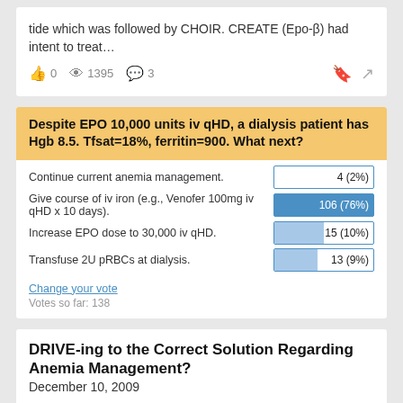tide which was followed by CHOIR. CREATE (Epo-β) had intent to treat…
👍 0  👁 1395  💬 3
Despite EPO 10,000 units iv qHD, a dialysis patient has Hgb 8.5. Tfsat=18%, ferritin=900. What next?
Continue current anemia management. 4 (2%)
Give course of iv iron (e.g., Venofer 100mg iv qHD x 10 days). 106 (76%)
Increase EPO dose to 30,000 iv qHD. 15 (10%)
Transfuse 2U pRBCs at dialysis. 13 (9%)
Change your vote
Votes so far: 138
DRIVE-ing to the Correct Solution Regarding Anemia Management?
December 10, 2009
Poll results from last week's question regarding anemia management in the dialysis patient. Interestingly, there was a fairly strong consensus on this one, with over 75% of individuals selecting iv iron…